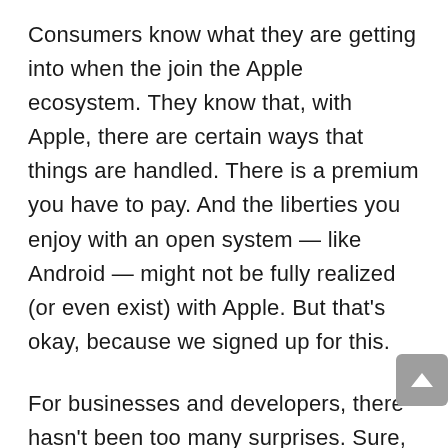Consumers know what they are getting into when the join the Apple ecosystem. They know that, with Apple, there are certain ways that things are handled. There is a premium you have to pay. And the liberties you enjoy with an open system — like Android — might not be fully realized (or even exist) with Apple. But that's okay, because we signed up for this.
For businesses and developers, there hasn't been too many surprises. Sure, there are a few memorable moments where an